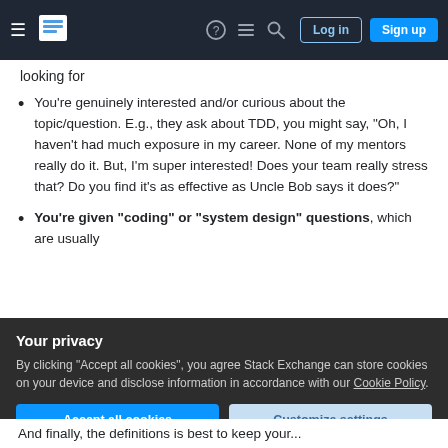Stack Exchange navigation bar with Log in and Sign up buttons
looking for
You're genuinely interested and/or curious about the topic/question. E.g., they ask about TDD, you might say, "Oh, I haven't had much exposure in my career. None of my mentors really do it. But, I'm super interested! Does your team really stress that? Do you find it's as effective as Uncle Bob says it does?"
You're given "coding" or "system design" questions, which are usually
Your privacy
By clicking "Accept all cookies", you agree Stack Exchange can store cookies on your device and disclose information in accordance with our Cookie Policy.
Accept all cookies   Customize settings
And finally, the definitions is best to keep your...